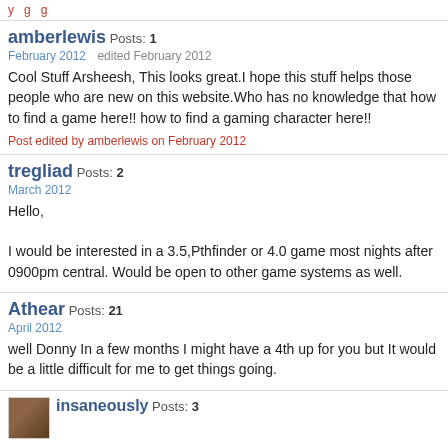y g g
amberlewis Posts: 1
February 2012   edited February 2012
Cool Stuff Arsheesh, This looks great.I hope this stuff helps those people who are new on this website.Who has no knowledge that how to find a game here!! how to find a gaming character here!!
Post edited by amberlewis on February 2012
tregliad Posts: 2
March 2012
Hello,
I would be interested in a 3.5,Pthfinder or 4.0 game most nights after 0900pm central. Would be open to other game systems as well.
Athear Posts: 21
April 2012
well Donny In a few months I might have a 4th up for you but It would be a little difficult for me to get things going.
insaneously Posts: 3